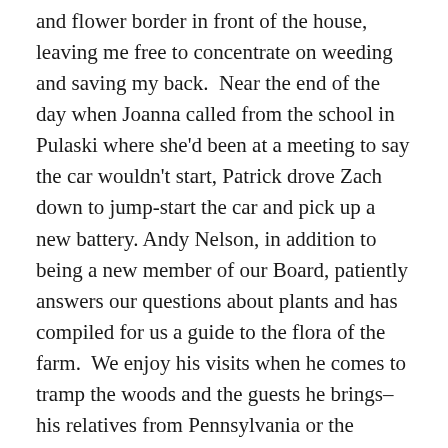and flower border in front of the house, leaving me free to concentrate on weeding and saving my back.  Near the end of the day when Joanna called from the school in Pulaski where she'd been at a meeting to say the car wouldn't start, Patrick drove Zach down to jump-start the car and pick up a new battery. Andy Nelson, in addition to being a new member of our Board, patiently answers our questions about plants and has compiled for us a guide to the flora of the farm.  We enjoy his visits when he comes to tramp the woods and the guests he brings–his relatives from Pennsylvania or the family of a Puerto Rican student. His wife Mary Anne works with international students at SUNY Oswego and we look forward to having more of them visit.  I have been wanting to make maps of the trails we've made and plan to make and Andy can help me plot them with his GPS device.